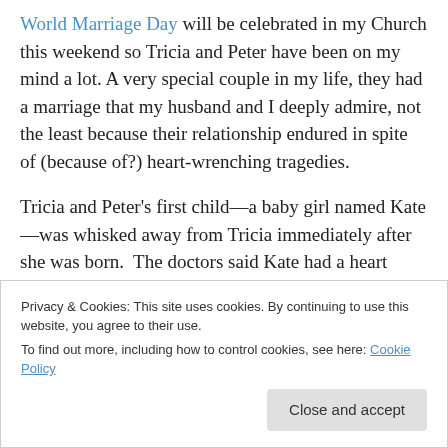World Marriage Day will be celebrated in my Church this weekend so Tricia and Peter have been on my mind a lot. A very special couple in my life, they had a marriage that my husband and I deeply admire, not the least because their relationship endured in spite of (because of?) heart-wrenching tragedies.

Tricia and Peter's first child—a baby girl named Kate—was whisked away from Tricia immediately after she was born. The doctors said Kate had a heart condition that required close monitoring. Tricia was sent home from the
Privacy & Cookies: This site uses cookies. By continuing to use this website, you agree to their use.
To find out more, including how to control cookies, see here: Cookie Policy
[Close and accept]